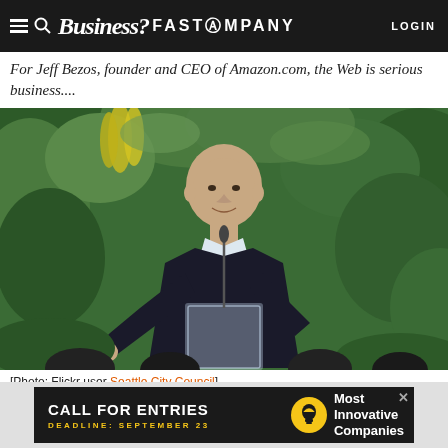Business? FAST COMPANY  LOGIN
For Jeff Bezos, founder and CEO of Amazon.com, the Web is serious business....
[Figure (photo): Jeff Bezos speaking at a podium with a microphone, surrounded by green tropical plants, gesturing with his right hand outstretched.]
[Photo: Flickr user Seattle City Council]
[Figure (infographic): Advertisement banner: CALL FOR ENTRIES, DEADLINE: SEPTEMBER 23, Most Innovative Companies, with a lightbulb icon.]